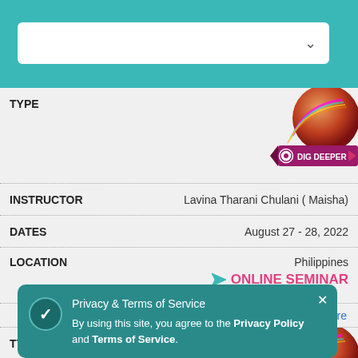[Figure (screenshot): Search/filter dropdown box with chevron]
| Field | Value |
| --- | --- |
| TYPE | (Dig Deeper image) |
| INSTRUCTOR | Lavina Tharani Chulani (Maisha) |
| DATES | August 27 - 28, 2022 |
| LOCATION | Philippines / ONLINE SEMINAR |
|  | Learn More |
| TYPE | (Dig Deeper image) |
| DATES | August 27 - 28, 2022 |
Privacy & Terms of Service
By using this site, you agree to the Privacy Policy and Terms of Service.